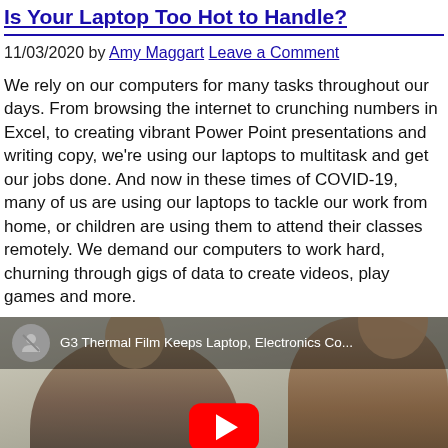Is Your Laptop Too Hot to Handle?
11/03/2020 by Amy Maggart Leave a Comment
We rely on our computers for many tasks throughout our days. From browsing the internet to crunching numbers in Excel, to creating vibrant Power Point presentations and writing copy, we're using our laptops to multitask and get our jobs done. And now in these times of COVID-19, many of us are using our laptops to tackle our work from home, or children are using them to attend their classes remotely. We demand our computers to work hard, churning through gigs of data to create videos, play games and more.
[Figure (screenshot): YouTube video thumbnail showing two people sitting at a table. Title overlay reads: G3 Thermal Film Keeps Laptop, Electronics Co... A red YouTube play button is centered on the image. A circular avatar/icon is shown in the top-left of the bar.]